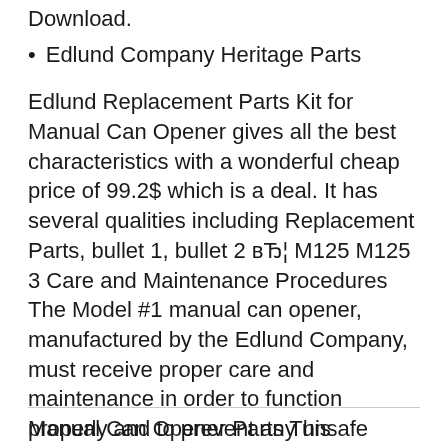Download.
Edlund Company Heritage Parts
Edlund Replacement Parts Kit for Manual Can Opener gives all the best characteristics with a wonderful cheap price of 99.2$ which is a deal. It has several qualities including Replacement Parts, bullet 1, bullet 2 вЂ¦ M125 M125 3 Care and Maintenance Procedures The Model #1 manual can opener, manufactured by the Edlund Company, must receive proper care and maintenance in order to function properly and to prevent any unsafe conditions over the
Manual Can Opener Parts This